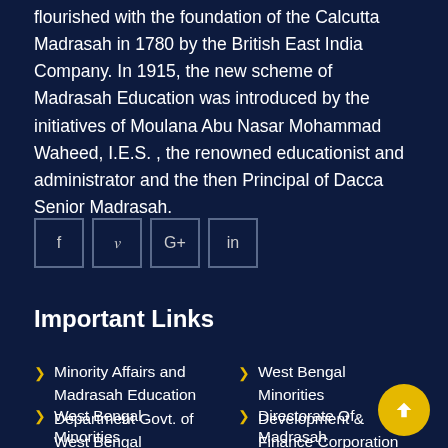flourished with the foundation of the Calcutta Madrasah in 1780 by the British East India Company. In 1915, the new scheme of Madrasah Education was introduced by the initiatives of Moulana Abu Nasar Mohammad Waheed, I.E.S. , the renowned educationist and administrator and the then Principal of Dacca Senior Madrasah.
[Figure (other): Social media share buttons: Facebook (f), Twitter (bird/y), Google+ (G+), LinkedIn (in)]
Important Links
Minority Affairs and Madrasah Education Department Govt. of West Bengal
West Bengal Minorities Development & Finance Corporation
West Bengal Minorities
Directorate Of Madrasah